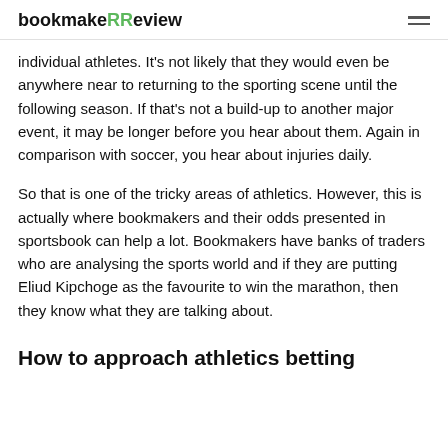bookmakeRReview
individual athletes. It's not likely that they would even be anywhere near to returning to the sporting scene until the following season. If that's not a build-up to another major event, it may be longer before you hear about them. Again in comparison with soccer, you hear about injuries daily.
So that is one of the tricky areas of athletics. However, this is actually where bookmakers and their odds presented in sportsbook can help a lot. Bookmakers have banks of traders who are analysing the sports world and if they are putting Eliud Kipchoge as the favourite to win the marathon, then they know what they are talking about.
How to approach athletics betting